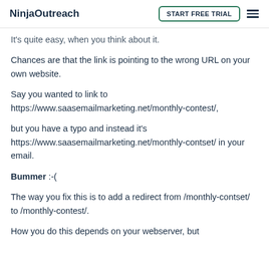NinjaOutreach | START FREE TRIAL
It's quite easy, when you think about it.
Chances are that the link is pointing to the wrong URL on your own website.
Say you wanted to link to https://www.saasemailmarketing.net/monthly-contest/,
but you have a typo and instead it's https://www.saasemailmarketing.net/monthly-contset/ in your email.
Bummer :-(
The way you fix this is to add a redirect from /monthly-contset/ to /monthly-contest/.
How you do this depends on your webserver, but